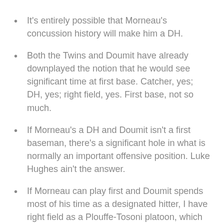It's entirely possible that Morneau's concussion history will make him a DH.
Both the Twins and Doumit have already downplayed the notion that he would see significant time at first base. Catcher, yes; DH, yes; right field, yes. First base, not so much.
If Morneau's a DH and Doumit isn't a first baseman, there's a significant hole in what is normally an important offensive position. Luke Hughes ain't the answer.
If Morneau can play first and Doumit spends most of his time as a designated hitter, I have right field as a Plouffe-Tosoni platoon, which also probably isn't optimal.
And, of course, all this assumes that Mauer is indeed going to catch 130 games.